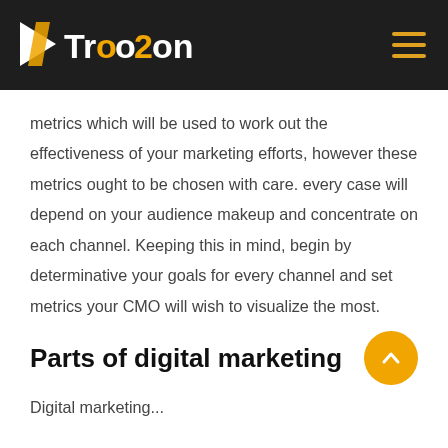[Figure (logo): Troozon logo with orange/white arrow icon and text on dark background, plus hamburger menu icon]
metrics which will be used to work out the effectiveness of your marketing efforts, however these metrics ought to be chosen with care. every case will depend on your audience makeup and concentrate on each channel. Keeping this in mind, begin by determinative your goals for every channel and set metrics your CMO will wish to visualize the most.
Parts of digital marketing
Digital marketing...